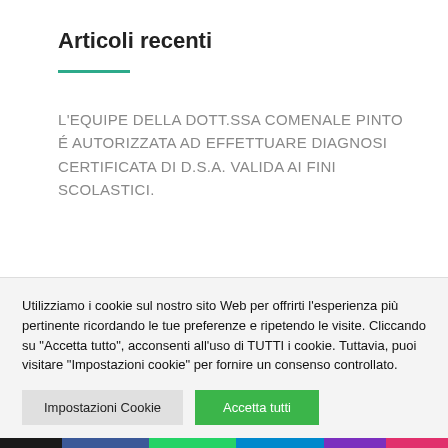Articoli recenti
L'EQUIPE DELLA DOTT.SSA COMENALE PINTO É AUTORIZZATA AD EFFETTUARE DIAGNOSI CERTIFICATA DI D.S.A. VALIDA AI FINI SCOLASTICI.
Utilizziamo i cookie sul nostro sito Web per offrirti l'esperienza più pertinente ricordando le tue preferenze e ripetendo le visite. Cliccando su "Accetta tutto", acconsenti all'uso di TUTTI i cookie. Tuttavia, puoi visitare "Impostazioni cookie" per fornire un consenso controllato.
Impostazioni Cookie | Accetta tutti